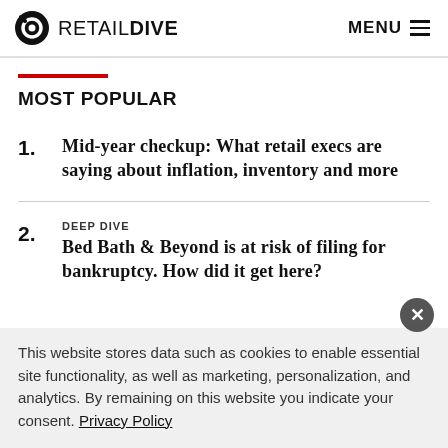RETAIL DIVE | MENU
MOST POPULAR
1. Mid-year checkup: What retail execs are saying about inflation, inventory and more
2. DEEP DIVE Bed Bath & Beyond is at risk of filing for bankruptcy. How did it get here?
This website stores data such as cookies to enable essential site functionality, as well as marketing, personalization, and analytics. By remaining on this website you indicate your consent. Privacy Policy